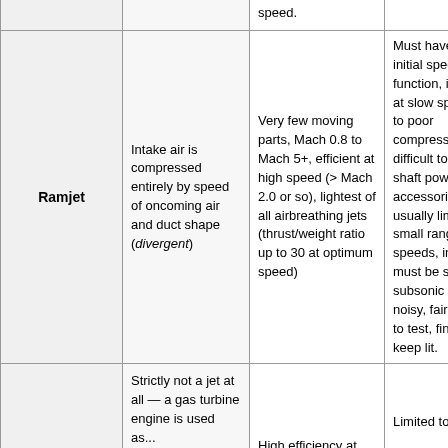| Engine type | Compression method | Advantages | Disadvantages |
| --- | --- | --- | --- |
|  |  | speed. |  |
| Ramjet | Intake air is compressed entirely by speed of oncoming air and duct shape (divergent) | Very few moving parts, Mach 0.8 to Mach 5+, efficient at high speed (> Mach 2.0 or so), lightest of all airbreathing jets (thrust/weight ratio up to 30 at optimum speed) | Must have a high initial speed to function, inefficient at slow speeds due to poor compression ratio, difficult to arrange shaft power for accessories, usually limited to a small range of speeds, intake flow must be slowed to subsonic speeds, noisy, fairly difficult to test, finicky to keep lit. |
|  | Strictly not a jet at all — a gas turbine engine is used as... | High efficiency at lower subsonic... | Limited top speed |